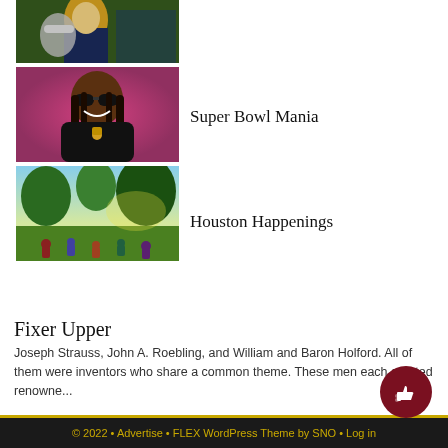[Figure (photo): Top clipped photo of a marching band musician in blue and yellow uniform holding an instrument]
[Figure (photo): Photo of Snoop Dogg wearing sunglasses and smiling, against a red/pink background]
Super Bowl Mania
[Figure (photo): Outdoor park scene with people sitting on grass near trees with sunlight filtering through]
Houston Happenings
Fixer Upper
Joseph Strauss, John A. Roebling, and William and Baron Holford. All of them were inventors who share a common theme. These men each created renowne...
© 2022 • Advertise • FLEX WordPress Theme by SNO • Log in